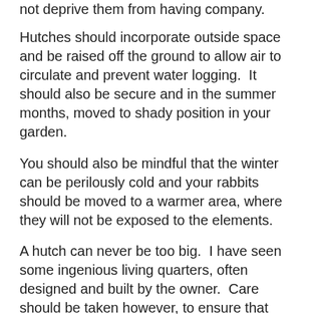not deprive them from having company.
Hutches should incorporate outside space and be raised off the ground to allow air to circulate and prevent water logging.  It should also be secure and in the summer months, moved to shady position in your garden.
You should also be mindful that the winter can be perilously cold and your rabbits should be moved to a warmer area, where they will not be exposed to the elements.
A hutch can never be too big.  I have seen some ingenious living quarters, often designed and built by the owner.  Care should be taken however, to ensure that there are no sharp edges or escape routes and before attempting a ‘do it yourself hutch’, seek